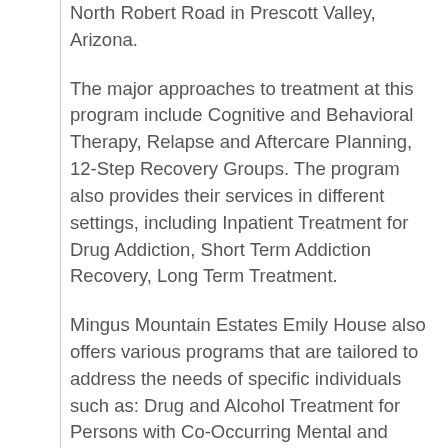North Robert Road in Prescott Valley, Arizona.
The major approaches to treatment at this program include Cognitive and Behavioral Therapy, Relapse and Aftercare Planning, 12-Step Recovery Groups. The program also provides their services in different settings, including Inpatient Treatment for Drug Addiction, Short Term Addiction Recovery, Long Term Treatment.
Mingus Mountain Estates Emily House also offers various programs that are tailored to address the needs of specific individuals such as: Drug and Alcohol Treatment for Persons with Co-Occurring Mental and Substance Use Disorders, Drug and Alcohol